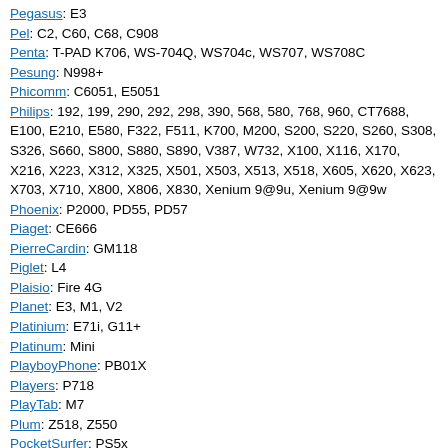Pegasus: E3
Pel: C2, C60, C68, C908
Penta: T-PAD K706, WS-704Q, WS704c, WS707, WS708C
Pesung: N998+
Phicomm: C6051, E5051
Philips: 192, 199, 290, 292, 298, 390, 568, 580, 768, 960, CT7688, E100, E210, E580, F322, F511, K700, M200, S200, S220, S260, S308, S326, S660, S800, S880, S890, V387, W732, X100, X116, X170, X216, X223, X312, X325, X501, X503, X513, X518, X605, X620, X623, X703, X710, X800, X806, X830, Xenium 9@9u, Xenium 9@9w
Phoenix: P2000, PD55, PD57
Piaget: CE666
PierreCardin: GM118
Piglet: L4
Plaisio: Fire 4G
Planet: E3, M1, V2
Platinium: E71i, G11+
Platinum: Mini
PlayboyPhone: PB01X
Players: P718
PlayTab: M7
Plum: Z518, Z550
PocketSurfer: PS5x
Polaroid: PRO4544PWE01, Tab
Polytro: R2507i
Pomp: F89, F98
Porsche: Cayenne
Powerpack: TC-107, TC-1GSM, TC-2GSM, TC-BT3, TC-BT7, TC-TV-168, TC-TV-178, TCG-8801, TCGS-218, TCGS-8806, TCGS-8818, TCGS-8888, TCTV-278, TCTV-438
PowerTel: M6000
Premier Code: DS-BD1
PremierGol: 2345t+